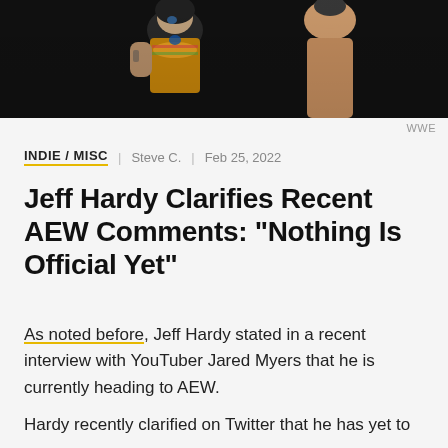[Figure (photo): Photo of wrestlers, one wearing a colorful tie-dye style top with face paint, another shirtless, dark background]
WWE
INDIE / MISC | Steve C. | Feb 25, 2022
Jeff Hardy Clarifies Recent AEW Comments: “Nothing Is Official Yet”
As noted before, Jeff Hardy stated in a recent interview with YouTuber Jared Myers that he is currently heading to AEW.
Hardy recently clarified on Twitter that he has yet to